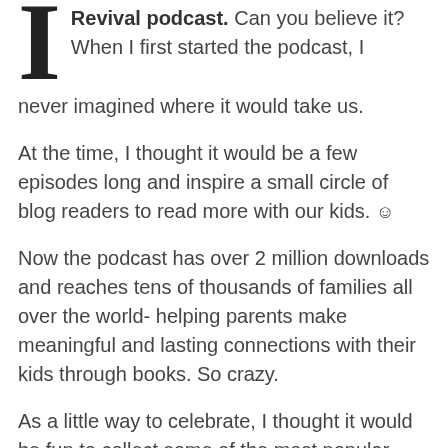Revival podcast. Can you believe it? When I first started the podcast, I never imagined where it would take us.
At the time, I thought it would be a few episodes long and inspire a small circle of blog readers to read more with our kids. 🙂
Now the podcast has over 2 million downloads and reaches tens of thousands of families all over the world- helping parents make meaningful and lasting connections with their kids through books. So crazy.
As a little way to celebrate, I thought it would be fun to collect some of the most popular episodes of the podcast all in one place.
Here they are, then, in no particular order: